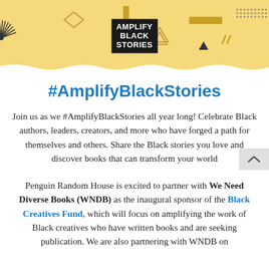[Figure (illustration): Amplify Black Stories banner with yellow/tan background, decorative geometric shapes (sunburst, diamond, triangles, rectangles, dots), and central logo text 'AMPLIFY BLACK STORIES' in black block lettering]
#AmplifyBlackStories
Join us as we #AmplifyBlackStories all year long! Celebrate Black authors, leaders, creators, and more who have forged a path for themselves and others. Share the Black stories you love and discover books that can transform your world.
Penguin Random House is excited to partner with We Need Diverse Books (WNDB) as the inaugural sponsor of the Black Creatives Fund, which will focus on amplifying the work of Black creatives who have written books and are seeking publication. We are also partnering with WNDB on